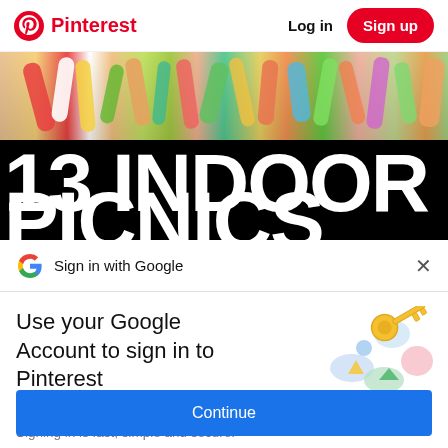Pinterest  Log in  Sign up
[Figure (screenshot): Pinterest page background showing colorful children's hands and arms, with large bold white text '13 INDOOR' on black background, partially showing next line of text below]
Sign in with Google
Use your Google Account to sign in to Pinterest
No more passwords to remember. Signing in is fast, simple and secure.
[Figure (illustration): Google key illustration with colorful circular icons and a golden key]
Continue